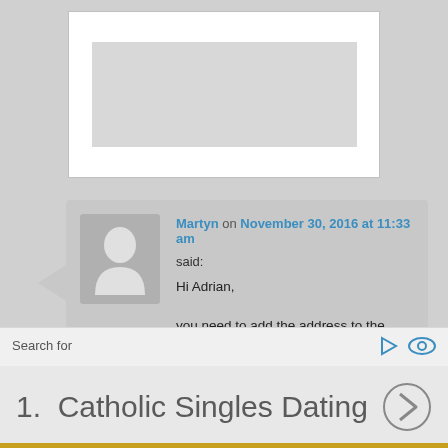[Figure (other): Placeholder image box with white outer frame and grey inner box, partially visible at top of page]
Martyn on November 30, 2016 at 11:33 am said:
Hi Adrian,

you need to add the address to the RNAME command. See above.
Search for
1.  Catholic Singles Dating